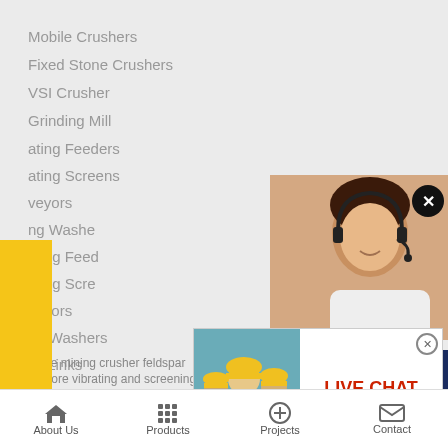Mobile Crushers
Fixed Stone Crushers
VSI Crusher
Grinding Mill
ating Feeders
ating Screens
veyors
ng Washe
ating Feed
ating Scre
veyors
ng Washers
ck Links
[Figure (screenshot): Live Chat popup with workers in hard hats, LIVE CHAT title in red, Chat now and Chat later buttons]
[Figure (photo): Customer service woman wearing headset smiling]
ave any requests, ick here.
Quotation
Enquiry
drobilkalm@gmail.com
stone mining crusher feldspar
iron ore vibrating and screening equipment
About Us | Products | Projects | Contact